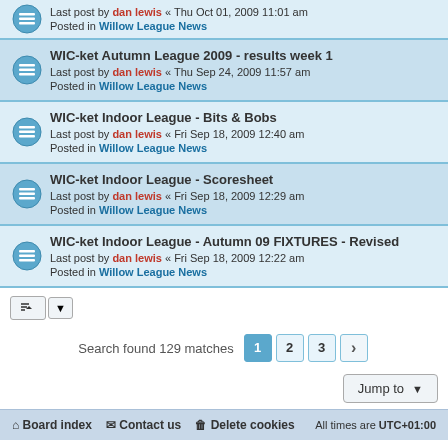WIC-ket Autumn League 2009 - results week 1. Last post by dan lewis « Thu Sep 24, 2009 11:57 am. Posted in Willow League News
WIC-ket Indoor League - Bits & Bobs. Last post by dan lewis « Fri Sep 18, 2009 12:40 am. Posted in Willow League News
WIC-ket Indoor League - Scoresheet. Last post by dan lewis « Fri Sep 18, 2009 12:29 am. Posted in Willow League News
WIC-ket Indoor League - Autumn 09 FIXTURES - Revised. Last post by dan lewis « Fri Sep 18, 2009 12:22 am. Posted in Willow League News
Search found 129 matches
Board index | Contact us | Delete cookies | All times are UTC+01:00
Powered by phpBB® Forum Software © phpBB Limited
Privacy | Terms